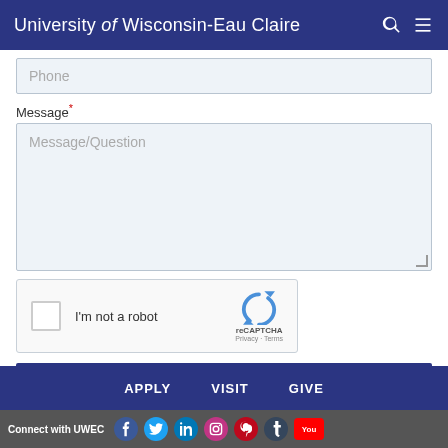University of Wisconsin-Eau Claire
Phone
Message *
Message/Question
[Figure (other): reCAPTCHA widget with checkbox labeled I'm not a robot and reCAPTCHA logo with Privacy and Terms links]
Submit
APPLY   VISIT   GIVE
Connect with UWEC (social media icons: Facebook, Twitter, LinkedIn, Instagram, Pinterest, Tumblr, YouTube)